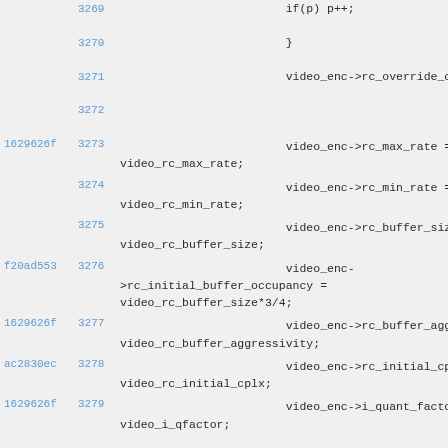3269    if(p) p++;
3270    }
3271    video_enc->rc_override_co
3272
1629626f 3273    video_enc->rc_max_rate = FB    video_rc_max_rate;
3274    video_enc->rc_min_rate = video_rc_min_rate;
3275    video_enc->rc_buffer_size video_rc_buffer_size;
f20ad553 3276    video_enc->rc_initial_buffer_occupancy = video_rc_buffer_size*3/4;
1629626f 3277    video_enc->rc_buffer_aggr video_rc_buffer_aggressivity;
ac2830ec 3278    video_enc->rc_initial_cpl video_rc_initial_cplx;
1629626f 3279    video_enc->i_quant_factor FB    video_i_qfactor;